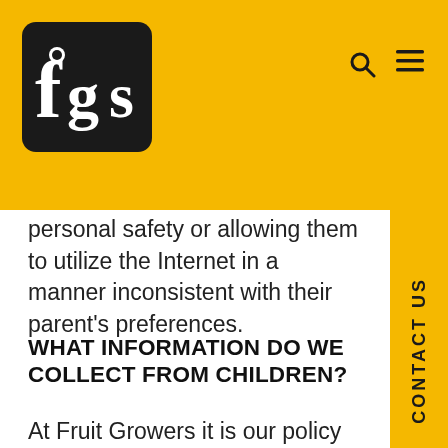[Figure (logo): fgs logo — white stylized 'fgs' text on dark rounded square, set on gold/yellow header bar]
fgs — navigation header with search and menu icons
personal safety or allowing them to utilize the Internet in a manner inconsistent with their parent's preferences.
WHAT INFORMATION DO WE COLLECT FROM CHILDREN?
At Fruit Growers it is our policy to create website experiences for children under the age of 13 that require minimal or no collection of personal information. Generally, Fruit Growers limits its collection of information to non-personally